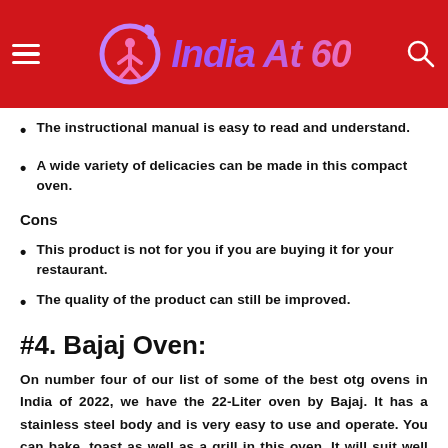India At 60
The instructional manual is easy to read and understand.
A wide variety of delicacies can be made in this compact oven.
Cons
This product is not for you if you are buying it for your restaurant.
The quality of the product can still be improved.
#4. Bajaj Oven:
On number four of our list of some of the best otg ovens in India of 2022, we have the 22-Liter oven by Bajaj. It has a stainless steel body and is very easy to use and operate. You can bake, toast as well as a grill in this oven. It will suit well with any décor of your kitchen. You can cook many delicacies at your home and on your fingertips with this appliance. It has a temperature range of 0 to 250 degrees Celsius. The